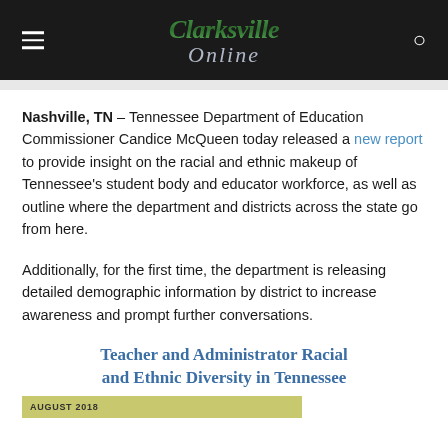Clarksville Online
Nashville, TN – Tennessee Department of Education Commissioner Candice McQueen today released a new report to provide insight on the racial and ethnic makeup of Tennessee's student body and educator workforce, as well as outline where the department and districts across the state go from here.
Additionally, for the first time, the department is releasing detailed demographic information by district to increase awareness and prompt further conversations.
Teacher and Administrator Racial and Ethnic Diversity in Tennessee
AUGUST 2018